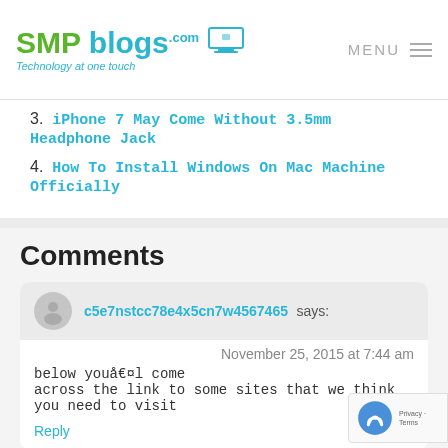SMP blogs.com — Technology at one touch | MENU
3. iPhone 7 May Come Without 3.5mm Headphone Jack
4. How To Install Windows On Mac Machine Officially
Comments
c5e7nstcc78e4x5cn7w4567465 says:
November 25, 2015 at 7:44 am
below youå€¤l come
across the link to some sites that we think you need to visit
Reply
How to get data from Corrupted memory card says: